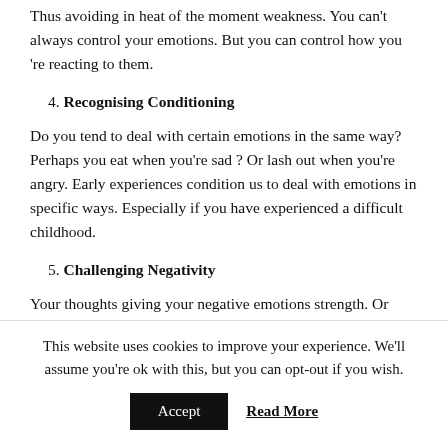Thus avoiding in heat of the moment weakness. You can't always control your emotions. But you can control how you 're reacting to them.
4. Recognising Conditioning
Do you tend to deal with certain emotions in the same way? Perhaps you eat when you're sad ? Or lash out when you're angry. Early experiences condition us to deal with emotions in specific ways. Especially if you have experienced a difficult childhood.
5. Challenging Negativity
Your thoughts giving your negative emotions strength. Or
This website uses cookies to improve your experience. We'll assume you're ok with this, but you can opt-out if you wish.